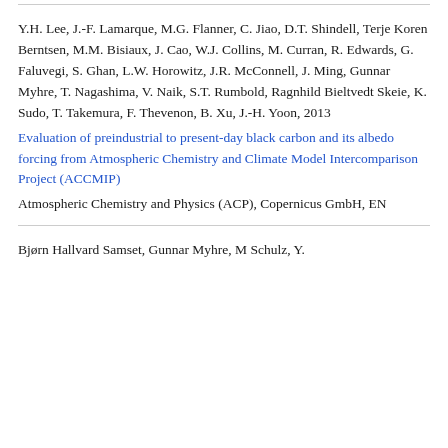Y.H. Lee, J.-F. Lamarque, M.G. Flanner, C. Jiao, D.T. Shindell, Terje Koren Berntsen, M.M. Bisiaux, J. Cao, W.J. Collins, M. Curran, R. Edwards, G. Faluvegi, S. Ghan, L.W. Horowitz, J.R. McConnell, J. Ming, Gunnar Myhre, T. Nagashima, V. Naik, S.T. Rumbold, Ragnhild Bieltvedt Skeie, K. Sudo, T. Takemura, F. Thevenon, B. Xu, J.-H. Yoon, 2013
Evaluation of preindustrial to present-day black carbon and its albedo forcing from Atmospheric Chemistry and Climate Model Intercomparison Project (ACCMIP)
Atmospheric Chemistry and Physics (ACP), Copernicus GmbH, EN
Bjørn Hallvard Samset, Gunnar Myhre, M Schulz, Y.